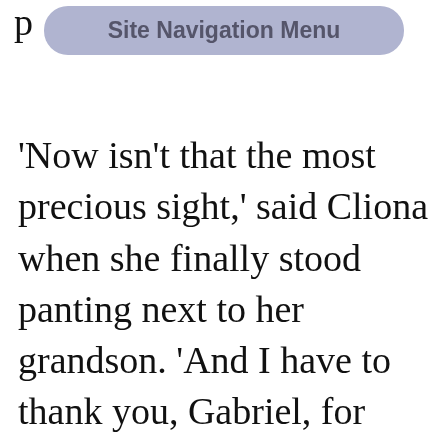p
[Figure (other): Site Navigation Menu button — a rounded rectangle button with gray-blue background and bold text reading 'Site Navigation Menu']
'Now isn't that the most precious sight,' said Cliona when she finally stood panting next to her grandson. 'And I have to thank you, Gabriel, for bringing me here. This is a gift for both of us, you know. But now let's sit down and have a drink. My heart is nearly